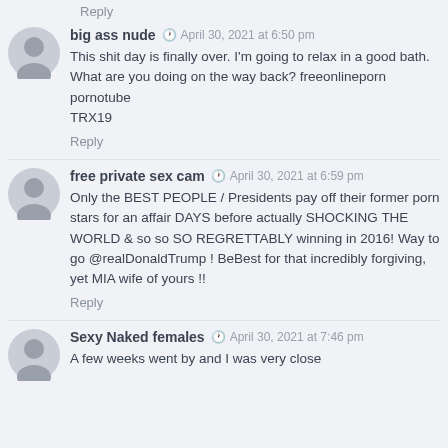Reply
big ass nude · April 30, 2021 at 6:50 pm
This shit day is finally over. I'm going to relax in a good bath.
What are you doing on the way back? freeonlineporn pornotube
TRX19
Reply
free private sex cam · April 30, 2021 at 6:59 pm
Only the BEST PEOPLE / Presidents pay off their former porn stars for an affair DAYS before actually SHOCKING THE WORLD & so so SO REGRETTABLY winning in 2016! Way to
go @realDonaldTrump ! BeBest for that incredibly forgiving,
yet MIA wife of yours !!
Reply
Sexy Naked females · April 30, 2021 at 7:46 pm
A few weeks went by and I was very close